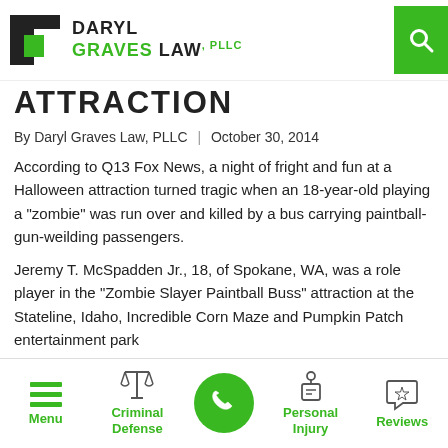DARYL GRAVES LAW, PLLC
ATTRACTION
By Daryl Graves Law, PLLC | October 30, 2014
According to Q13 Fox News, a night of fright and fun at a Halloween attraction turned tragic when an 18-year-old playing a “zombie” was run over and killed by a bus carrying paintball-gun-weilding passengers.
Jeremy T. McSpadden Jr., 18, of Spokane, WA, was a role player in the “Zombie Slayer Paintball Buss” attraction at the Stateline, Idaho, Incredible Corn Maze and Pumpkin Patch entertainment park
Menu | Criminal Defense | [call] | Personal Injury | Reviews